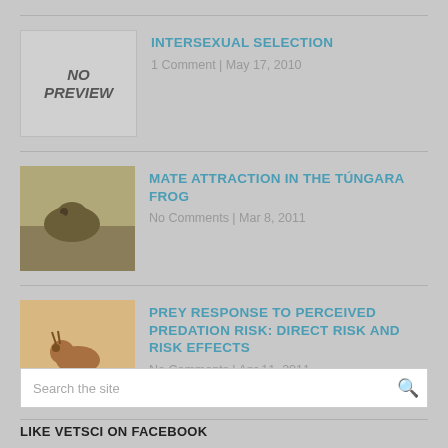INTERSEXUAL SELECTION
1 Comment | May 17, 2010
MATE ATTRACTION IN THE TÚNGARA FROG
No Comments | Mar 8, 2011
PREY RESPONSE TO PERCEIVED PREDATION RISK: DIRECT RISK AND RISK EFFECTS
No Comments | Apr 11, 2011
Search the site
LIKE VETSCI ON FACEBOOK